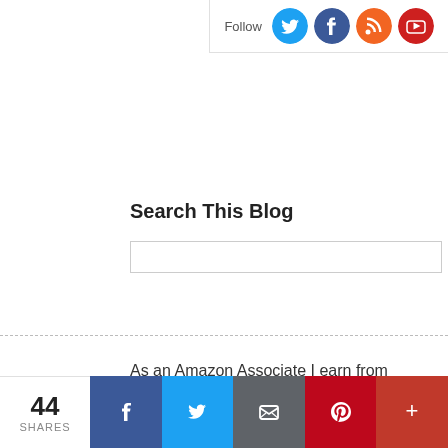[Figure (infographic): Follow bar with social media icons: Twitter (blue), Facebook (dark blue), RSS (orange), YouTube (red)]
Search This Blog
As an Amazon Associate I earn from qualifying
Policies
[Figure (infographic): Bottom social share bar with 44 SHARES count, Facebook, Twitter, Email, Pinterest, and More buttons]